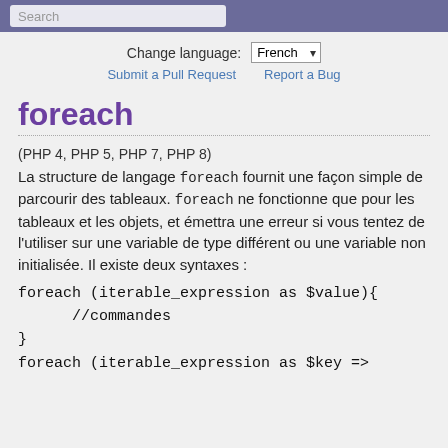Search
Change language: French
Submit a Pull Request   Report a Bug
foreach
(PHP 4, PHP 5, PHP 7, PHP 8)
La structure de langage foreach fournit une façon simple de parcourir des tableaux. foreach ne fonctionne que pour les tableaux et les objets, et émettra une erreur si vous tentez de l'utiliser sur une variable de type différent ou une variable non initialisée. Il existe deux syntaxes :
foreach (iterable_expression as $value){
      //commandes
}
foreach (iterable_expression as $key =>